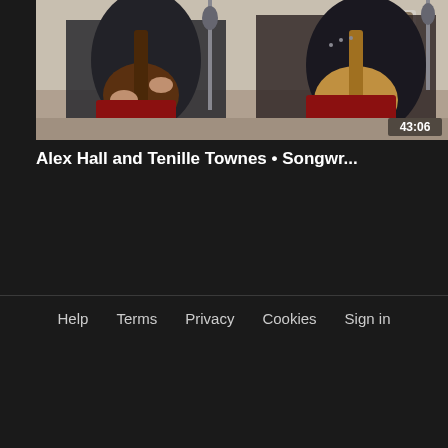[Figure (screenshot): Video thumbnail showing two musicians sitting on red chairs playing acoustic guitars in a studio/room setting with microphones. Duration timestamp 43:06 shown in bottom right.]
Alex Hall and Tenille Townes • Songwr...
Help   Terms   Privacy   Cookies   Sign in